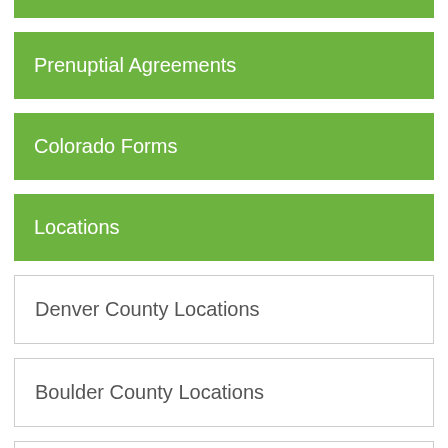Prenuptial Agreements
Colorado Forms
Locations
Denver County Locations
Boulder County Locations
Douglas County Locations